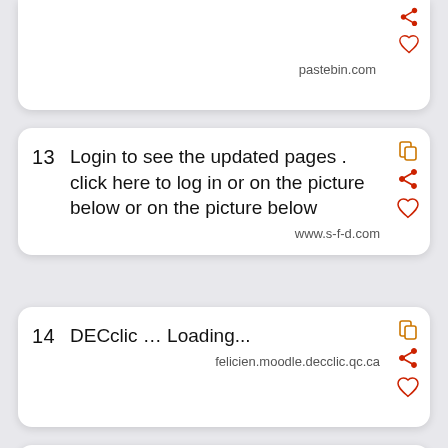pastebin.com (partial card, top)
13   Login to see the updated pages . click here to log in or on the picture below or on the picture below
www.s-f-d.com
14   DECclic … Loading...
felicien.moodle.decclic.qc.ca
15   We would like to show you a description here but the site won't allow us.
www.slickdeals.net